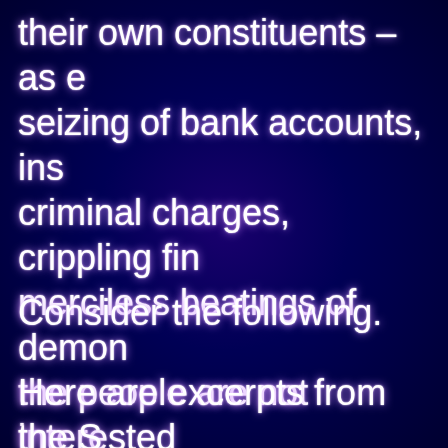their own constituents – as e seizing of bank accounts, ins criminal charges, crippling fin merciless beatings of demon the people are not interested with Pfizer's poison…
Consider the following.
Here are excerpts from the S family who owns Oxycontin. aware – the things that family